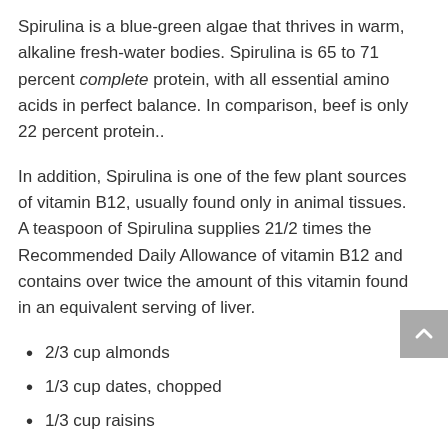Spirulina is a blue-green algae that thrives in warm, alkaline fresh-water bodies. Spirulina is 65 to 71 percent complete protein, with all essential amino acids in perfect balance. In comparison, beef is only 22 percent protein..
In addition, Spirulina is one of the few plant sources of vitamin B12, usually found only in animal tissues. A teaspoon of Spirulina supplies 21/2 times the Recommended Daily Allowance of vitamin B12 and contains over twice the amount of this vitamin found in an equivalent serving of liver.
2/3 cup almonds
1/3 cup dates, chopped
1/3 cup raisins
2/3 cup Brown Rice cereal
2 tbsp. raw agave syrup or maple syrup
1 Tbsp. Spirulina powder
1/3 cup almond butter